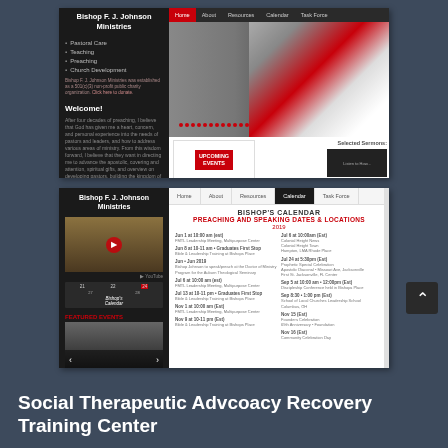[Figure (screenshot): Screenshot of Bishop F. J. Johnson Ministries website homepage showing navigation, sidebar with Pastoral Care, Teaching, Preaching, Church Development menu items, Welcome section, and a photo of Bishop Johnson in red vestments holding a microphone, plus Upcoming Events section and Selected Sermons.]
[Figure (screenshot): Screenshot of Bishop F. J. Johnson Ministries website Calendar page showing Bishop's Calendar with Preaching and Speaking Dates & Locations, YouTube video embed, calendar strip, Featured Events section with carousel, and two-column listing of calendar entries.]
Social Therapeutic Advcоacy Recovery Training Center